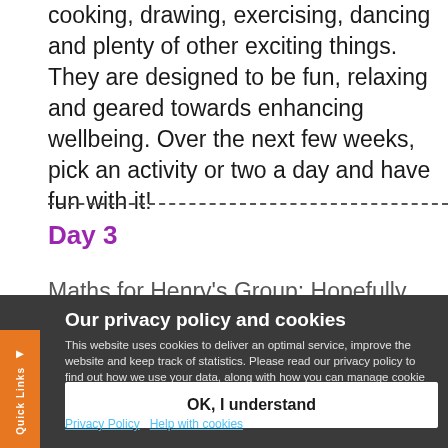cooking, drawing, exercising, dancing and plenty of other exciting things. They are designed to be fun, relaxing and geared towards enhancing wellbeing. Over the next few weeks, pick an activity or two a day and have fun with it!
Day 3
Maths for Henry's Group: Hopefully after
Our privacy policy and cookies
This website uses cookies to deliver an optimal service, improve the website and keep track of statistics. Please read our privacy policy to find out how we use your data, along with how you can manage cookie settings in your web browser. By continuing to use this website it is understood you are happy to receive these cookies.
OK, I understand
Privacy Policy
Help with cookies